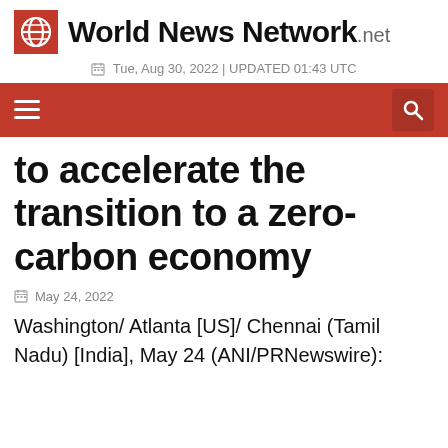World News Network .net
Tue, Aug 30, 2022 | UPDATED 01:43 UTC
to accelerate the transition to a zero-carbon economy
May 24, 2022
Washington/ Atlanta [US]/ Chennai (Tamil Nadu) [India], May 24 (ANI/PRNewswire):